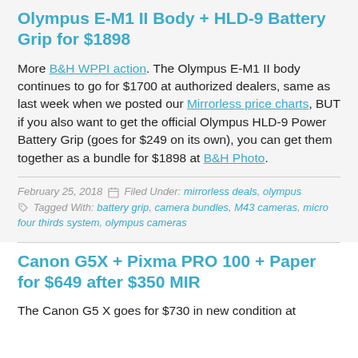Olympus E-M1 II Body + HLD-9 Battery Grip for $1898
More B&H WPPI action. The Olympus E-M1 II body continues to go for $1700 at authorized dealers, same as last week when we posted our Mirrorless price charts, BUT if you also want to get the official Olympus HLD-9 Power Battery Grip (goes for $249 on its own), you can get them together as a bundle for $1898 at B&H Photo.
February 25, 2018 · Filed Under: mirrorless deals, olympus · Tagged With: battery grip, camera bundles, M43 cameras, micro four thirds system, olympus cameras
Canon G5X + Pixma PRO 100 + Paper for $649 after $350 MIR
The Canon G5 X goes for $730 in new condition at